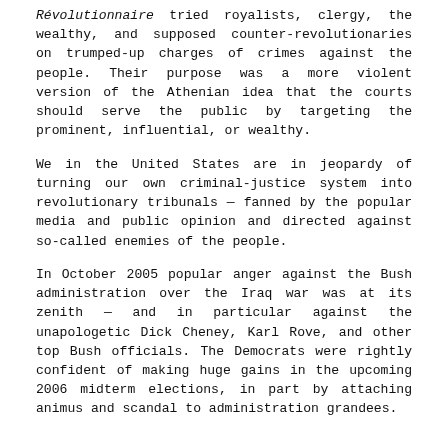Révolutionnaire tried royalists, clergy, the wealthy, and supposed counter-revolutionaries on trumped-up charges of crimes against the people. Their purpose was a more violent version of the Athenian idea that the courts should serve the public by targeting the prominent, influential, or wealthy.
We in the United States are in jeopardy of turning our own criminal-justice system into revolutionary tribunals — fanned by the popular media and public opinion and directed against so-called enemies of the people.
In October 2005 popular anger against the Bush administration over the Iraq war was at its zenith — and in particular against the unapologetic Dick Cheney, Karl Rove, and other top Bush officials. The Democrats were rightly confident of making huge gains in the upcoming 2006 midterm elections, in part by attaching animus and scandal to administration grandees.